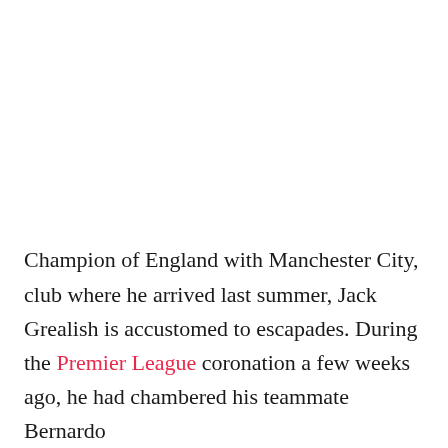Champion of England with Manchester City, club where he arrived last summer, Jack Grealish is accustomed to escapades. During the Premier League coronation a few weeks ago, he had chambered his teammate Bernardo